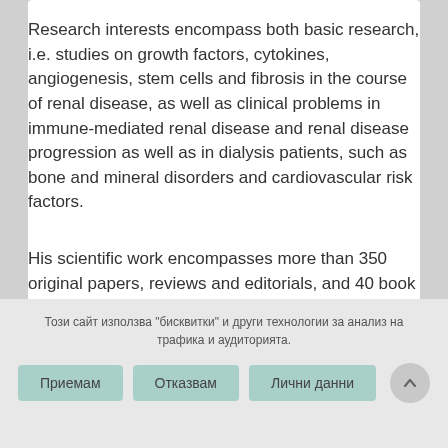Research interests encompass both basic research, i.e. studies on growth factors, cytokines, angiogenesis, stem cells and fibrosis in the course of renal disease, as well as clinical problems in immune-mediated renal disease and renal disease progression as well as in dialysis patients, such as bone and mineral disorders and cardiovascular risk factors.
His scientific work encompasses more than 350 original papers, reviews and editorials, and 40 book chapters.
Този сайт използва "бисквитки" и други технологии за анализ на трафика и аудиторията.